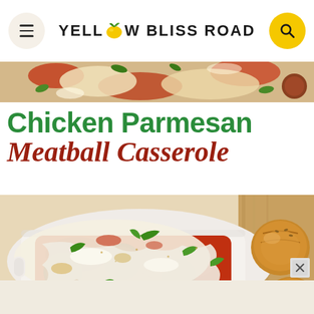Yellow Bliss Road
[Figure (photo): Top strip showing a close-up of a cheesy baked dish with basil leaves and tomato sauce]
Chicken Parmesan Meatball Casserole
[Figure (photo): Main photo of Chicken Parmesan Meatball Casserole in a white baking dish with melted mozzarella cheese, tomato sauce, and fresh basil leaves, with a bread roll visible on the right side]